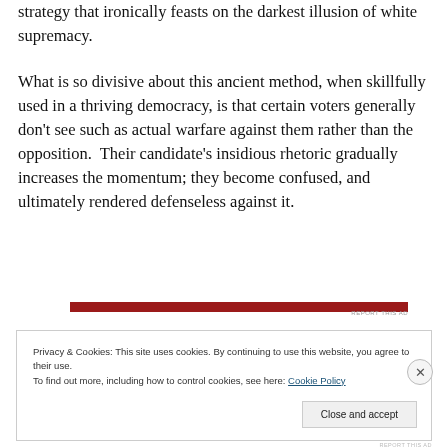strategy that ironically feasts on the darkest illusion of white supremacy.
What is so divisive about this ancient method, when skillfully used in a thriving democracy, is that certain voters generally don't see such as actual warfare against them rather than the opposition.  Their candidate's insidious rhetoric gradually increases the momentum; they become confused, and ultimately rendered defenseless against it.
[Figure (other): Red horizontal advertisement bar with 'REPORT THIS AD' text on the right]
Privacy & Cookies: This site uses cookies. By continuing to use this website, you agree to their use.
To find out more, including how to control cookies, see here: Cookie Policy
Close and accept